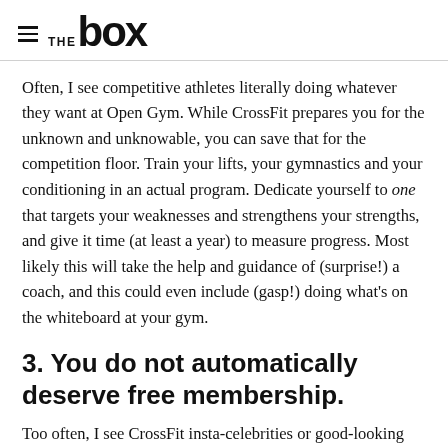THE BOX
Often, I see competitive athletes literally doing whatever they want at Open Gym. While CrossFit prepares you for the unknown and unknowable, you can save that for the competition floor. Train your lifts, your gymnastics and your conditioning in an actual program. Dedicate yourself to one that targets your weaknesses and strengthens your strengths, and give it time (at least a year) to measure progress. Most likely this will take the help and guidance of (surprise!) a coach, and this could even include (gasp!) doing what’s on the whiteboard at your gym.
3. You do not automatically deserve free membership.
Too often, I see CrossFit insta-celebrities or good-looking girls